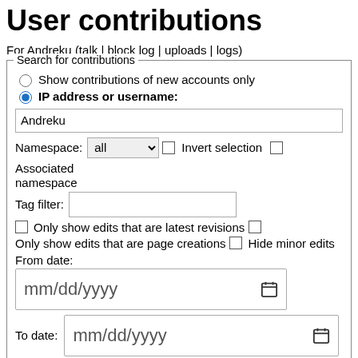User contributions
For Andreku (talk | block log | uploads | logs)
Search for contributions
Show contributions of new accounts only
IP address or username: Andreku
Namespace: all  Invert selection  Associated namespace
Tag filter:
Only show edits that are latest revisions  Only show edits that are page creations  Hide minor edits
From date: mm/dd/yyyy
To date: mm/dd/yyyy
Search